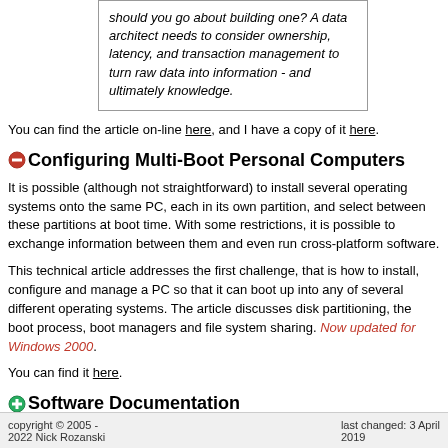should you go about building one? A data architect needs to consider ownership, latency, and transaction management to turn raw data into information - and ultimately knowledge.
You can find the article on-line here, and I have a copy of it here.
Configuring Multi-Boot Personal Computers
It is possible (although not straightforward) to install several operating systems onto the same PC, each in its own partition, and select between these partitions at boot time. With some restrictions, it is possible to exchange information between them and even run cross-platform software.
This technical article addresses the first challenge, that is how to install, configure and manage a PC so that it can boot up into any of several different operating systems. The article discusses disk partitioning, the boot process, boot managers and file system sharing. Now updated for Windows 2000.
You can find it here.
Software Documentation
copyright © 2005 - 2022 Nick Rozanski | last changed: 3 April 2019